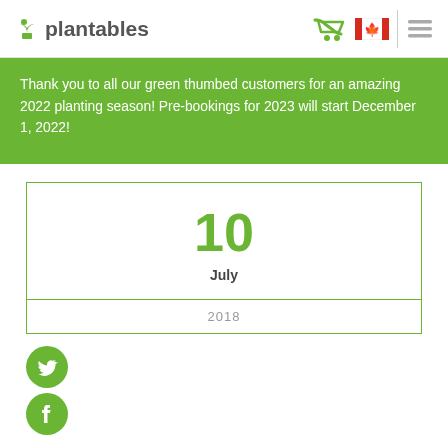plantables — header with logo, cart, Canadian flag, and menu icons
Thank you to all our green thumbed customers for an amazing 2022 planting season! Pre-bookings for 2023 will start December 1, 2022!
10
July
2018